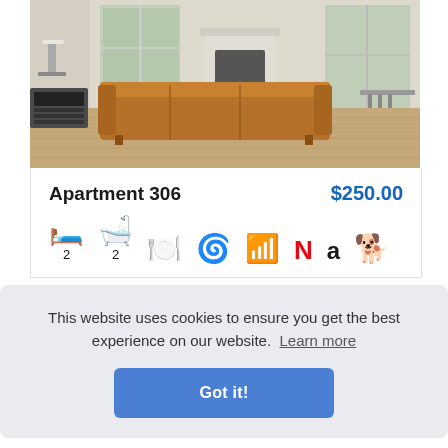[Figure (photo): Interior photo of a furnished apartment living room with a brown leather sofa, hardwood floors, white fireplace, large windows, and a dining area in the background.]
Apartment 306
$250.00
[Figure (infographic): Row of amenity icons: bed (2), bath (2), dishwasher, washer, WiFi, Netflix, Amazon, pet-friendly (dog)]
This website uses cookies to ensure you get the best experience on our website.  Learn more
Got it!